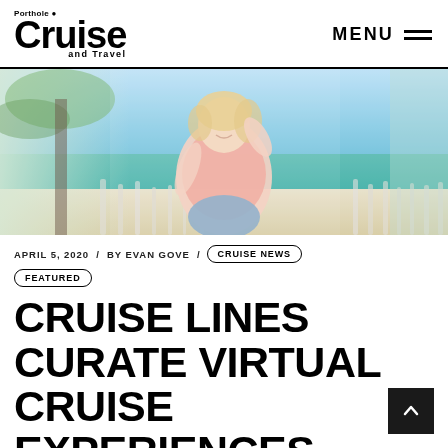Porthole Cruise and Travel — MENU
[Figure (photo): Woman in pink top sitting on a beach, with tropical ocean background, palm trees, and light bokeh effect. She is smiling and holding her hair.]
APRIL 5, 2020  /  BY EVAN GOVE  /  CRUISE NEWS  FEATURED
CRUISE LINES CURATE VIRTUAL CRUISE EXPERIENCES